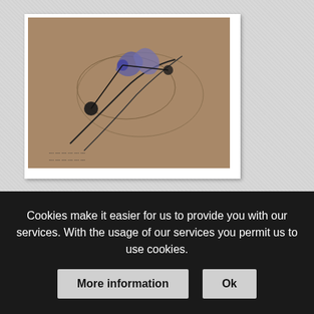[Figure (photo): Photo of a Leningrad Blockade Museum map exhibit showing a historical map with illustrated routes and figures, displayed on a wall or table]
Leningrad Blockade Museum 12 - Road of Life map
[Figure (photo): Partial photo of museum interior showing exhibits and lighting]
Cookies make it easier for us to provide you with our services. With the usage of our services you permit us to use cookies.
More information
Ok